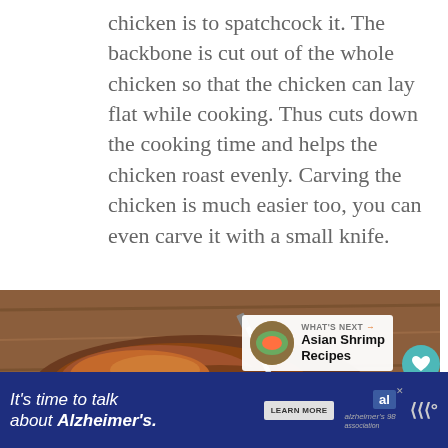chicken is to spatchcock it. The backbone is cut out of the whole chicken so that the chicken can lay flat while cooking. Thus cuts down the cooking time and helps the chicken roast evenly. Carving the chicken is much easier too, you can even carve it with a small knife.
[Figure (photo): Overhead photo of roasted spatchcocked chicken pieces on a wooden cutting board with a knife]
WHAT'S NEXT → Asian Shrimp Recipes
It's time to talk about Alzheimer's.